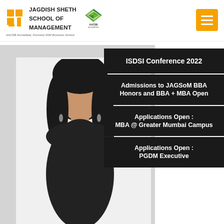[Figure (logo): Jagdish Sheth School of Management logo with orange J icon and AACSB Accredited diamond logo]
AACSB Accredited, Formerly IFIM Business School
[Figure (photo): Woman with black hair wearing black clothing, partial portrait]
ISDSI Conference 2022
Admissions to JAGSoM BBA Honors and BBA + MBA Open
Applications Open : MBA @ Greater Mumbai Campus
Applications Open : PGDM Executive